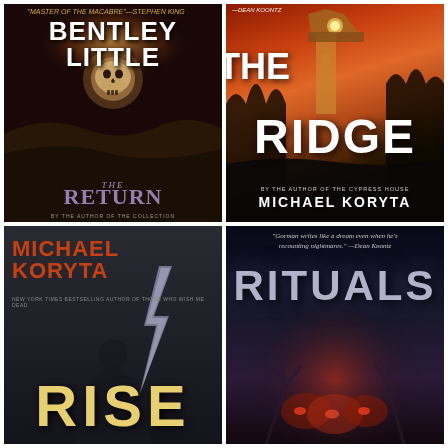[Figure (photo): Book cover collage of four horror novels: 'The Return' by Bentley Little (top-left), 'The Ridge' by Michael Koryta (top-right), 'Rise' by Michael Koryta (bottom-left), and 'Rituals' (bottom-right). Dark atmospheric covers with horror imagery.]